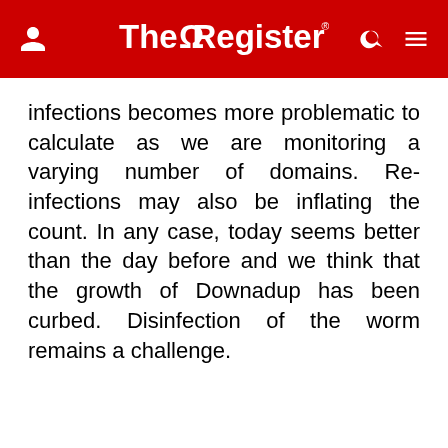The Register
infections becomes more problematic to calculate as we are monitoring a varying number of domains. Re-infections may also be inflating the count. In any case, today seems better than the day before and we think that the growth of Downadup has been curbed. Disinfection of the worm remains a challenge.